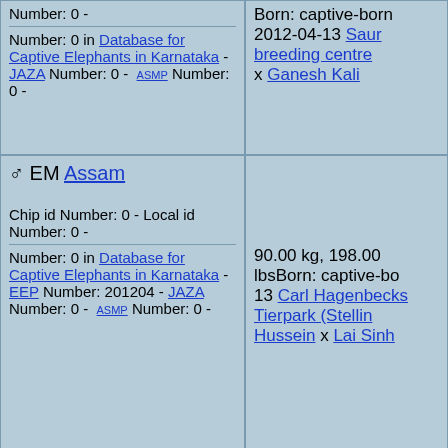Number: 0 -
Number: 0 in Database for Captive Elephants in Karnataka -
JAZA Number: 0 - ASMP Number: 0 -
Born: captive-born 2012-04-13 Saur breeding centre x Ganesh Kali
♂ EM Assam
Chip id Number: 0 - Local id Number: 0 -
Number: 0 in Database for Captive Elephants in Karnataka -
EEP Number: 201204 - JAZA Number: 0 - ASMP Number: 0 -
90.00 kg, 198.00 lbsBorn: captive-born 13 Carl Hagenbecks Tierpark (Stelling Hussein x Lai Sinh
† ♂ EM noname
Chip id Number: 0 - Local id Number: 0 -
130.00 kg, 286.00 lbsBorn: captive-b